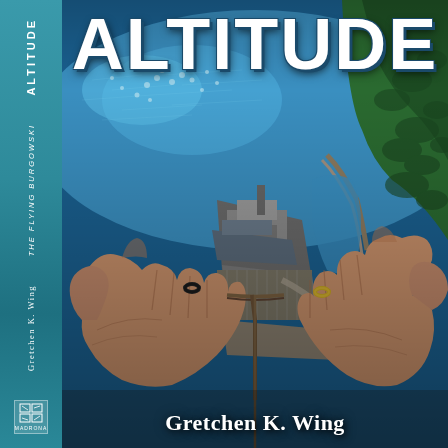[Figure (photo): Book cover and spine of 'Altitude' by Gretchen K. Wing. The spine (left) shows the title 'ALTITUDE', subtitle 'THE FLYING BURGOWSKI', author 'Gretchen K. Wing', and the Madrona publisher logo at bottom, all on a teal/cyan background. The front cover features an aerial photograph looking down from great height, with two pairs of hands gripping what appears to be a rope or line in the foreground, the scene below showing a coastal industrial area with a harbor, ship, forested cliffs, and blue water. The large white bold title 'ALTITUDE' appears across the top of the cover, and 'Gretchen K. Wing' is printed at the bottom in white serif text.]